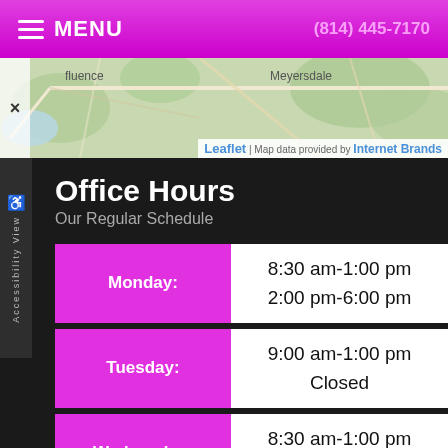MENU | (814) 445-7170
[Figure (map): Street map showing Meyersdale area with roads and terrain. Attribution: Leaflet | Map data provided by Internet Brands]
Office Hours
Our Regular Schedule
| Day | Hours |
| --- | --- |
| Monday: | 8:30 am-1:00 pm
2:00 pm-6:00 pm |
| Tuesday: | 9:00 am-1:00 pm
Closed |
| Wednesday: | 8:30 am-1:00 pm
2:00 pm-6:00 pm |